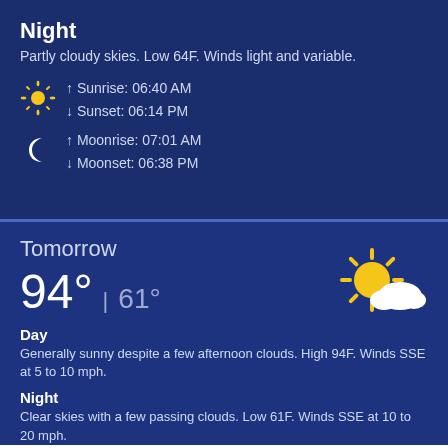Night
Partly cloudy skies. Low 64F. Winds light and variable.
↑ Sunrise: 06:40 AM
↓ Sunset: 06:14 PM
↑ Moonrise: 07:01 AM
↓ Moonset: 06:38 PM
Tomorrow
94° | 61°
[Figure (illustration): Partly sunny weather icon: sun with cloud]
Day
Generally sunny despite a few afternoon clouds. High 94F. Winds SSE at 5 to 10 mph.
Night
Clear skies with a few passing clouds. Low 61F. Winds SSE at 10 to 20 mph.